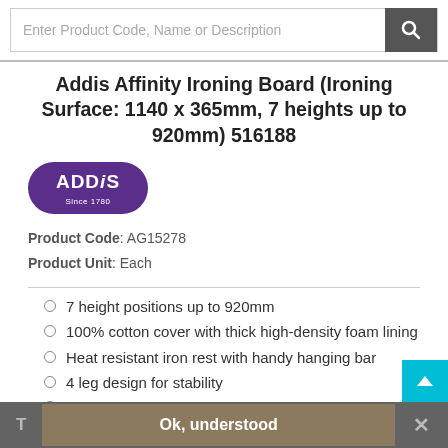Enter Product Code, Name or Description
Addis Affinity Ironing Board (Ironing Surface: 1140 x 365mm, 7 heights up to 920mm) 516188
[Figure (logo): Addis logo - purple rounded rectangle with white text 'ADDiS Since 1780']
Product Code: AG15278
Product Unit: Each
7 height positions up to 920mm
100% cotton cover with thick high-density foam lining
Heat resistant iron rest with handy hanging bar
4 leg design for stability
Anti-slip feet
T   Ok, understood   ×